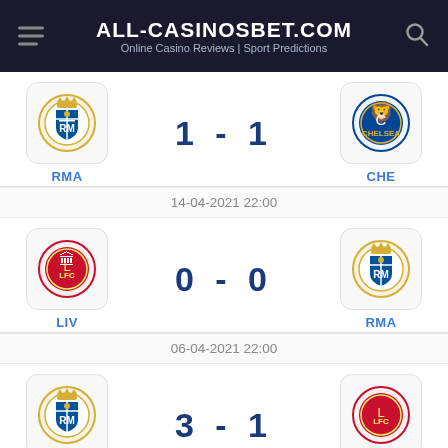ALL-CASINOSBET.COM — Online Casino Reviews | Sport Predictions
[Figure (infographic): Match result: RMA 1 - 1 CHE]
14-04-2021 22:00
[Figure (infographic): Match result: LIV 0 - 0 RMA]
06-04-2021 22:00
[Figure (infographic): Match result: RMA 3 - 1 LIV]
16-03-2021 22:00
[Figure (infographic): Match result partial: 3 - 1]